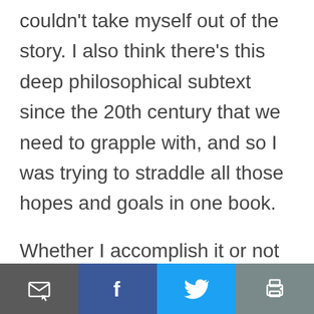couldn't take myself out of the story. I also think there's this deep philosophical subtext since the 20th century that we need to grapple with, and so I was trying to straddle all those hopes and goals in one book.
Whether I accomplish it or not is another question, but I did enjoy writing it. There was a certain liberation that came from writing without the obvious groove of a genre and trying to be a little more creative and innovative.
[Figure (other): Social sharing toolbar with four buttons: email/share (dark gray), Facebook (blue), Twitter (light blue), and print (gray)]